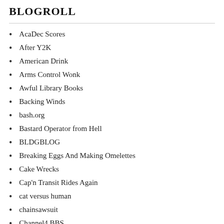BLOGROLL
AcaDec Scores
After Y2K
American Drink
Arms Control Wonk
Awful Library Books
Backing Winds
bash.org
Bastard Operator from Hell
BLDGBLOG
Breaking Eggs And Making Omelettes
Cake Wrecks
Cap'n Transit Rides Again
cat versus human
chainsawsuit
Channel4 BBS
Chromium Notes